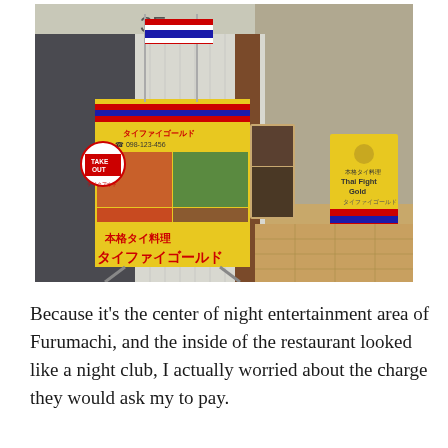[Figure (photo): Photograph of the exterior of a Thai restaurant called Thai Fight Gold (タイファイゴールド) in a covered shopping arcade in Japan. A large yellow sandwich board sign with Japanese text and food photos stands in the foreground, with Thai flags on top. A smaller sandwich board sign with the restaurant name in English and Japanese is visible further back along the corridor. A 'Take Out' circular sign is also visible.]
Because it's the center of night entertainment area of Furumachi, and the inside of the restaurant looked like a night club, I actually worried about the charge they would ask my to pay.